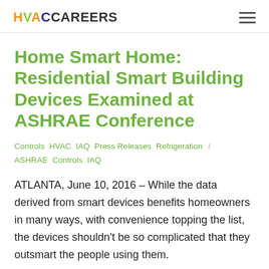HVACCAREERS
Home Smart Home: Residential Smart Building Devices Examined at ASHRAE Conference
Controls  HVAC  IAQ  Press Releases  Refrigeration  /  ASHRAE  Controls  IAQ
ATLANTA, June 10, 2016 – While the data derived from smart devices benefits homeowners in many ways, with convenience topping the list, the devices shouldn't be so complicated that they outsmart the people using them.
The use of devices and data insights is examined in a seminar at the ASHRAE 2016 Annual Conference. The